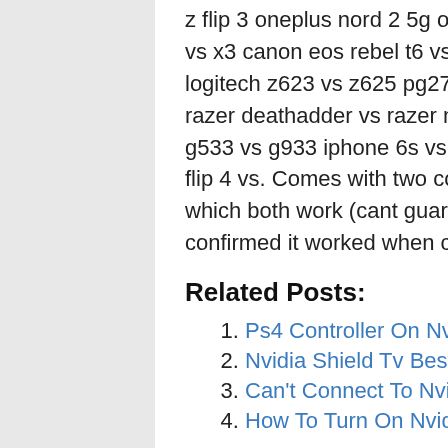z flip 3 oneplus nord 2 5g oneplus 9 pro xiaomi mi 11x. Jaybird x2 vs x3 canon eos rebel t6 vs nikon d340 canon t7i vs nikon d5600 logitech z623 vs z625 pg278qr vs pg279q nikon d3200 vs d3300 razer deathadder vs razer mamba d5500 vs d7200 g603 vs g703 g533 vs g933 iphone 6s vs iphone se jbl charge 3 vs jbl charge 4 jbl flip 4 vs. Comes with two controllers (thin and older fat model) which both work (cant guarantee battery life of fat controller but confirmed it worked when connected).
Related Posts:
Ps4 Controller On Nvidia Shield
Nvidia Shield Tv Best Buy
Can't Connect To Nvidia Shield Over Network
How To Turn On Nvidia Shield Without Remote
Filed in: Cisco